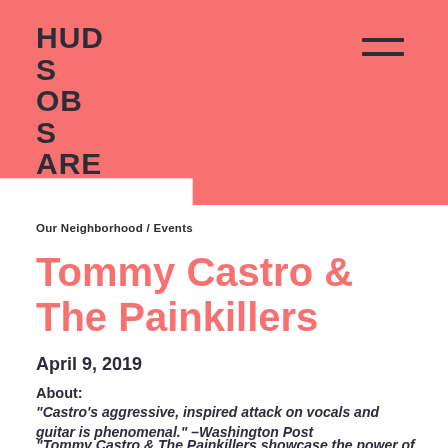[Figure (logo): Hudson Square logo stacked: HUD / S / OB / S / ARE in bold dark text on coral/salmon background]
Our Neighborhood / Events
Tommy Castro & The Painkillers
April 9, 2019
About:
"Castro's aggressive, inspired attack on vocals and guitar is phenomenal." –Washington Post
"Tommy Castro & The Painkillers showcase the power of the blues, soul and down-and-dirty rock 'n' roll…rousing and infectious. This is energizing, scorching, soul-shaking music….pure pleasure." –